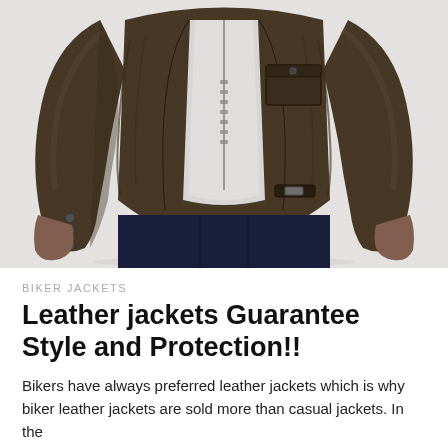[Figure (photo): A man wearing a distressed brown leather biker jacket open over a white t-shirt, with dark navy jeans. The torso and arms are visible; the head is cropped out. The jacket has a chest pocket with a button flap, side pockets, button cuffs, and a zipper closure. The background is white.]
BIKER JACKETS
Leather jackets Guarantee Style and Protection!!
Bikers have always preferred leather jackets which is why biker leather jackets are sold more than casual jackets. In the